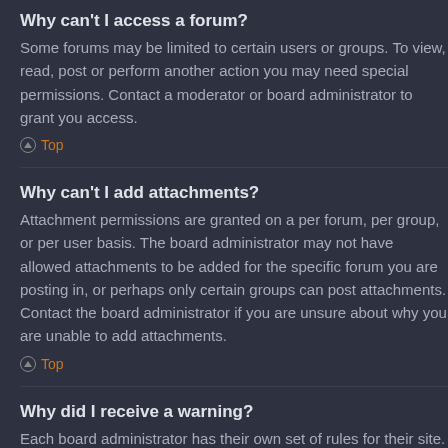Why can't I access a forum?
Some forums may be limited to certain users or groups. To view, read, post or perform another action you may need special permissions. Contact a moderator or board administrator to grant you access.
Top
Why can't I add attachments?
Attachment permissions are granted on a per forum, per group, or per user basis. The board administrator may not have allowed attachments to be added for the specific forum you are posting in, or perhaps only certain groups can post attachments. Contact the board administrator if you are unsure about why you are unable to add attachments.
Top
Why did I receive a warning?
Each board administrator has their own set of rules for their site. If you have broken a rule, you may be issued a warning. Please note that this is the board administrator's decision, and the phpBB Limited has nothing to do with the warnings...